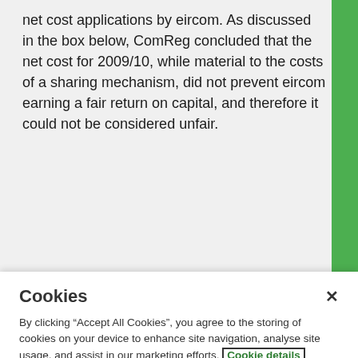net cost applications by eircom. As discussed in the box below, ComReg concluded that the net cost for 2009/10, while material to the costs of a sharing mechanism, did not prevent eircom earning a fair return on capital, and therefore it could not be considered unfair.
Cookies
By clicking “Accept All Cookies”, you agree to the storing of cookies on your device to enhance site navigation, analyse site usage, and assist in our marketing efforts. Cookie details
Cookie settings
Accept all cookies